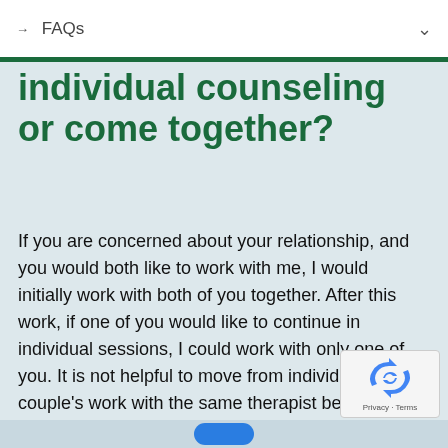→ FAQs
individual counseling or come together?
If you are concerned about your relationship, and you would both like to work with me, I would initially work with both of you together. After this work, if one of you would like to continue in individual sessions, I could work with only one of you. It is not helpful to move from individual into couple's work with the same therapist because of potential trust issues.
[Figure (logo): reCAPTCHA widget with circular arrow logo and Privacy · Terms text]